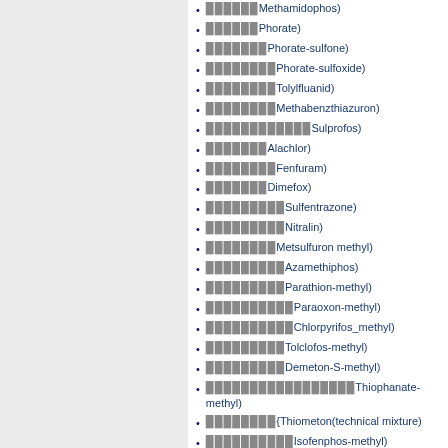Methamidophos)
Phorate)
Phorate-sulfone)
Phorate-sulfoxide)
Tolylfluanid)
Methabenzthiazuron)
Sulprofos)
Alachlor)
Fenfuram)
Dimefox)
Sulfentrazone)
Nitralin)
Metsulfuron methyl)
Azamethiphos)
Parathion-methyl)
Paraoxon-methyl)
Chlorpyrifos_methyl)
Tolclofos-methyl)
Demeton-S-methyl)
Thiophanate-methyl)
{Thiometon(technical mixture)
Isofenphos-methyl)
Sulprofos)
Dimethirimol)
{Methiocarb(Mercaptodimethur)
Methiocarb-sulfone)